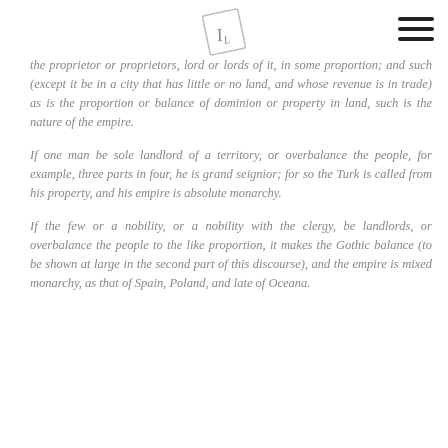IL [logo]
the proprietor or proprietors, lord or lords of it, in some proportion; and such (except it be in a city that has little or no land, and whose revenue is in trade) as is the proportion or balance of dominion or property in land, such is the nature of the empire.
If one man be sole landlord of a territory, or overbalance the people, for example, three parts in four, he is grand seignior; for so the Turk is called from his property, and his empire is absolute monarchy.
If the few or a nobility, or a nobility with the clergy, be landlords, or overbalance the people to the like proportion, it makes the Gothic balance (to be shown at large in the second part of this discourse), and the empire is mixed monarchy, as that of Spain, Poland, and late of Oceana.